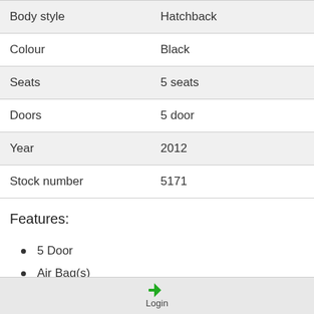| Body style | Hatchback |
| Colour | Black |
| Seats | 5 seats |
| Doors | 5 door |
| Year | 2012 |
| Stock number | 5171 |
Features:
5 Door
Air Bag(s)
Driver Airbag
Passenger airbag
Login